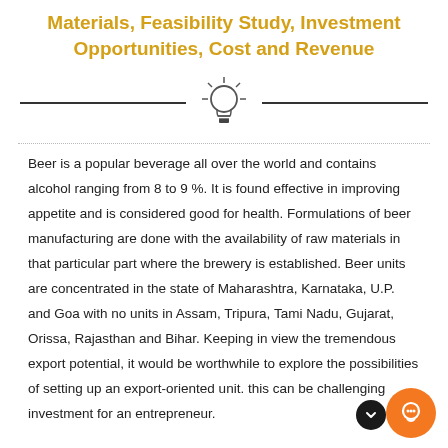Materials, Feasibility Study, Investment Opportunities, Cost and Revenue
[Figure (illustration): Light bulb icon with rays, flanked by two horizontal lines forming a decorative divider]
Beer is a popular beverage all over the world and contains alcohol ranging from 8 to 9 %. It is found effective in improving appetite and is considered good for health. Formulations of beer manufacturing are done with the availability of raw materials in that particular part where the brewery is established. Beer units are concentrated in the state of Maharashtra, Karnataka, U.P. and Goa with no units in Assam, Tripura, Tami Nadu, Gujarat, Orissa, Rajasthan and Bihar. Keeping in view the tremendous export potential, it would be worthwhile to explore the possibilities of setting up an export-oriented unit. this can be challenging investment for an entrepreneur.